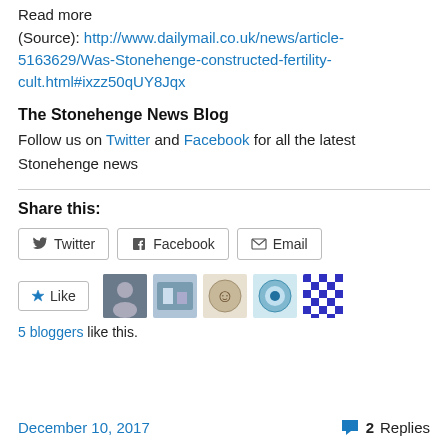Read more
(Source): http://www.dailymail.co.uk/news/article-5163629/Was-Stonehenge-constructed-fertility-cult.html#ixzz50qUY8Jqx
The Stonehenge News Blog
Follow us on Twitter and Facebook for all the latest Stonehenge news
Share this:
[Figure (screenshot): Share buttons: Twitter, Facebook, Email]
[Figure (screenshot): Like button and 5 blogger avatars]
5 bloggers like this.
December 10, 2017   2 Replies